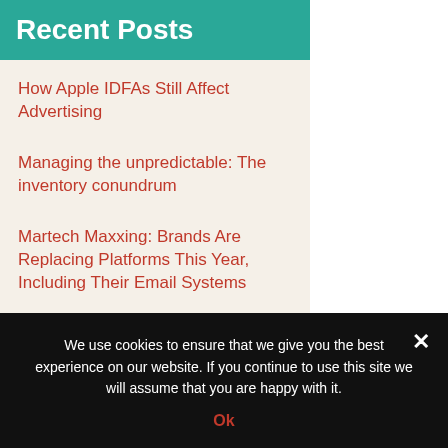Recent Posts
How Apple IDFAs Still Affect Advertising
Managing the unpredictable: The inventory conundrum
Martech Maxxing: Brands Are Replacing Platforms This Year, Including Their Email Systems
How Under Armour's Curry Brand shoes are taking off in the metaverse
Integral Ad Science And Anzu Partner To Measure Media Quality For In-Game Ads
We use cookies to ensure that we give you the best experience on our website. If you continue to use this site we will assume that you are happy with it.
Ok